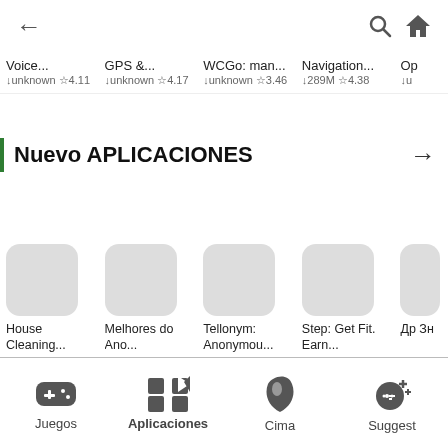← (back) 🔍 🏠
Voice... | ↓unknown ☆4.11 | GPS &... | ↓unknown ☆4.17 | WCGo: man... | ↓unknown ☆3.46 | Navigation... | ↓289M ☆4.38 | Op...
Nuevo APLICACIONES →
House Cleaning... ↓unknown ☆4.24 | Melhores do Ano... ↓unknown | Tellonym: Anonymou... ↓unknown ☆4.25 | Step: Get Fit. Earn... ↓unknown ☆2.93 | Др...
Juegos | Aplicaciones | Cima | Suggest